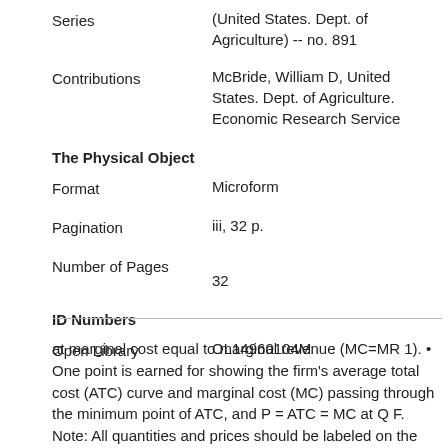| Series | (United States. Dept. of Agriculture) -- no. 891 |
| Contributions | McBride, William D, United States. Dept. of Agriculture. Economic Research Service |
| The Physical Object |  |
| Format | Microform |
| Pagination | iii, 32 p. |
| Number of Pages | 32 |
| ID Numbers |  |
| Open Library | OL14960104M |
at marginal cost equal to marginal revenue (MC=MR 1). • One point is earned for showing the firm's average total cost (ATC) curve and marginal cost (MC) passing through the minimum point of ATC, and P = ATC = MC at Q F. Note: All quantities and prices should be labeled on the axes and connected to the intersection points by dashed lines. The detailed costs of inputs and other farm operations are presented in Table 2. The total cost of production across the three years